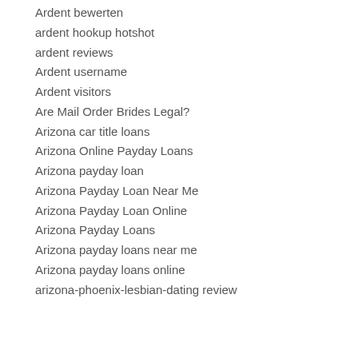Ardent bewerten
ardent hookup hotshot
ardent reviews
Ardent username
Ardent visitors
Are Mail Order Brides Legal?
Arizona car title loans
Arizona Online Payday Loans
Arizona payday loan
Arizona Payday Loan Near Me
Arizona Payday Loan Online
Arizona Payday Loans
Arizona payday loans near me
Arizona payday loans online
arizona-phoenix-lesbian-dating review